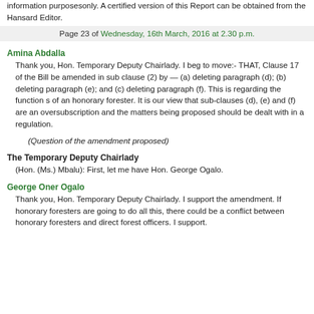information purposesonly. A certified version of this Report can be obtained from the Hansard Editor.
Page 23 of Wednesday, 16th March, 2016 at 2.30 p.m.
Amina Abdalla
Thank you, Hon. Temporary Deputy Chairlady. I beg to move:- THAT, Clause 17 of the Bill be amended in sub clause (2) by — (a) deleting paragraph (d); (b) deleting paragraph (e); and (c) deleting paragraph (f). This is regarding the function s of an honorary forester. It is our view that sub-clauses (d), (e) and (f) are an oversubscription and the matters being proposed should be dealt with in a regulation.
(Question of the amendment proposed)
The Temporary Deputy Chairlady
(Hon. (Ms.) Mbalu): First, let me have Hon. George Ogalo.
George Oner Ogalo
Thank you, Hon. Temporary Deputy Chairlady. I support the amendment. If honorary foresters are going to do all this, there could be a conflict between honorary foresters and direct forest officers. I support.